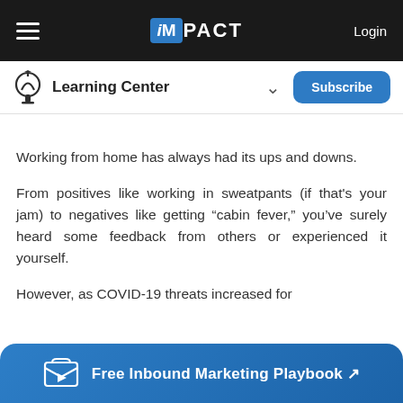iMPACT — Login
Learning Center — Subscribe
Working from home has always had its ups and downs.
From positives like working in sweatpants (if that’s your jam) to negatives like getting “cabin fever,” you’ve surely heard some feedback from others or experienced it yourself.
However, as COVID-19 threats increased for
Free Inbound Marketing Playbook ↗